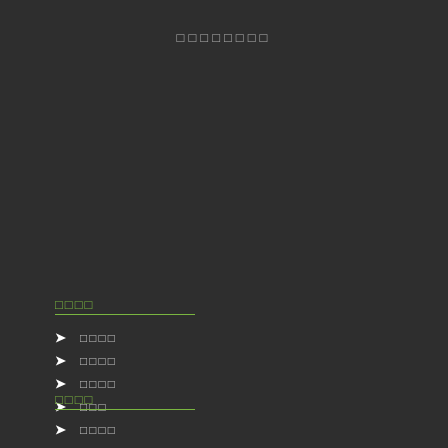□□□□□□□□
□□□□
□□□□
□□□□
□□□□
□□□
□□□□
□□□□